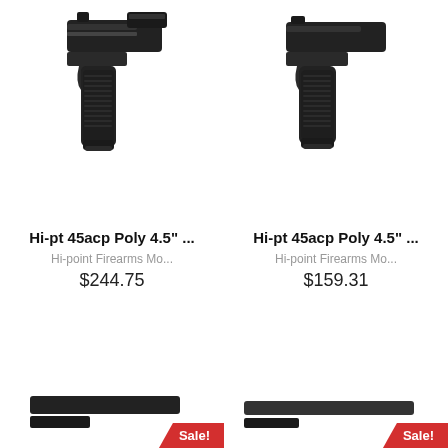[Figure (photo): Hi-pt 45acp Poly 4.5" pistol product image, left item, black polymer pistol viewed from the side]
Hi-pt 45acp Poly 4.5" ...
Hi-point Firearms Mo...
$244.75
[Figure (photo): Hi-pt 45acp Poly 4.5" pistol product image, right item, black polymer pistol viewed from the side]
Hi-pt 45acp Poly 4.5" ...
Hi-point Firearms Mo...
$159.31
[Figure (photo): Bottom left product thumbnail, partially visible, with Sale! banner]
[Figure (photo): Bottom right product thumbnail, partially visible, with Sale! banner]